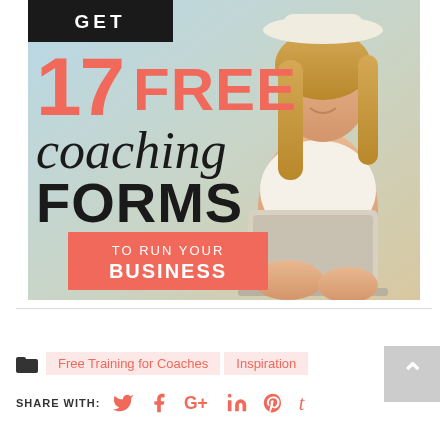[Figure (infographic): Promotional infographic on light blue background with a smiling blonde woman sitting with a laptop. Text reads: GET 17 FREE coaching FORMS TO RUN YOUR BUSINESS. '17 FREE' in coral/salmon color, 'coaching' in black script, 'FORMS' in bold black, 'TO RUN YOUR BUSINESS' in white text on coral rectangle.]
Free Training for Coaches  Inspiration
SHARE WITH: